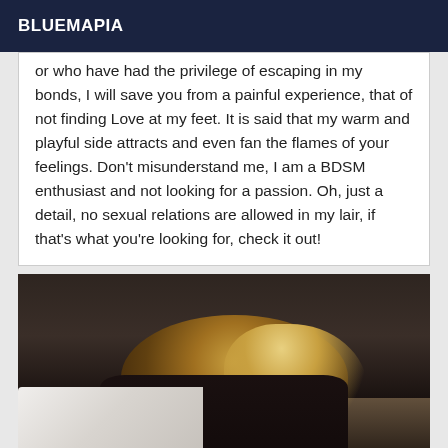BLUEMAPIA
or who have had the privilege of escaping in my bonds, I will save you from a painful experience, that of not finding Love at my feet. It is said that my warm and playful side attracts and even fan the flames of your feelings. Don't misunderstand me, I am a BDSM enthusiast and not looking for a passion. Oh, just a detail, no sexual relations are allowed in my lair, if that's what you're looking for, check it out!
[Figure (photo): Woman with long curly blonde highlighted hair, wearing a black lace top, viewed from behind, sitting on a bed with white bedding, dark headboard in background.]